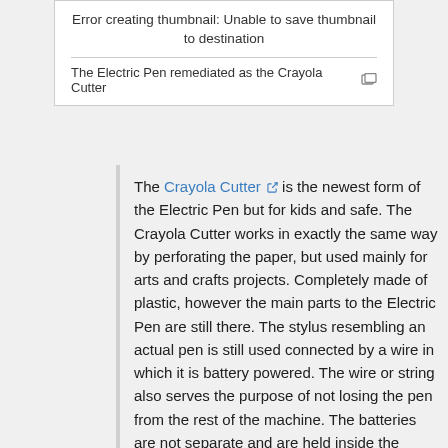[Figure (other): Thumbnail error box with caption: Error creating thumbnail: Unable to save thumbnail to destination. The Electric Pen remediated as the Crayola Cutter]
The Crayola Cutter is the newest form of the Electric Pen but for kids and safe. The Crayola Cutter works in exactly the same way by perforating the paper, but used mainly for arts and crafts projects. Completely made of plastic, however the main parts to the Electric Pen are still there. The stylus resembling an actual pen is still used connected by a wire in which it is battery powered. The wire or string also serves the purpose of not losing the pen from the rest of the machine. The batteries are not separate and are held inside the press which serves mostly as a blotter, since the Crayola Cutter, although it can make stencils, is mainly for cutting things out. So the pen, wire, press, and batteries are still intact from Edison's original design but remediated for children. It can be assumed the speed of the needle (or cutting tool probably not a needle) moves up and